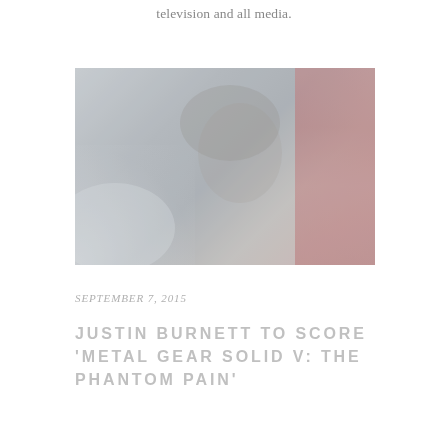television and all media.
[Figure (photo): Desaturated profile photo of a man with grey hair facing left, misty atmosphere, red element on the right side of the image]
SEPTEMBER 7, 2015
JUSTIN BURNETT TO SCORE 'METAL GEAR SOLID V: THE PHANTOM PAIN'